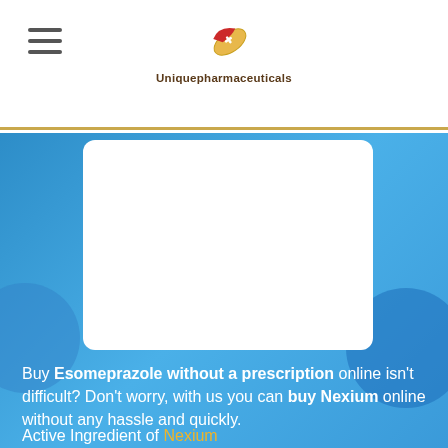Uniquepharmaceuticals
[Figure (screenshot): White card/panel displayed over blue background, representing a product image placeholder area]
Buy Esomeprazole without a prescription online isn't difficult? Don't worry, with us you can buy Nexium online without any hassle and quickly.
Active Ingredient of Nexium